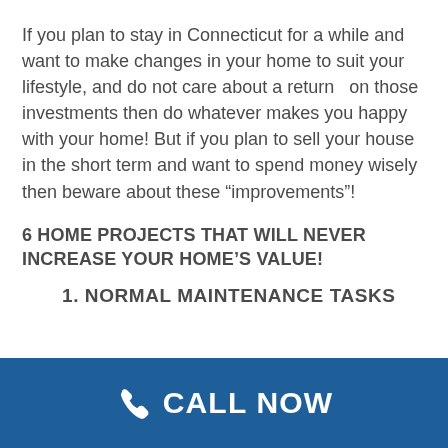If you plan to stay in Connecticut for a while and want to make changes in your home to suit your lifestyle, and do not care about a return  on those investments then do whatever makes you happy with your home! But if you plan to sell your house in the short term and want to spend money wisely then beware about these “improvements”!
6 HOME PROJECTS THAT WILL NEVER INCREASE YOUR HOME’S VALUE!
1. NORMAL MAINTENANCE TASKS
CALL NOW